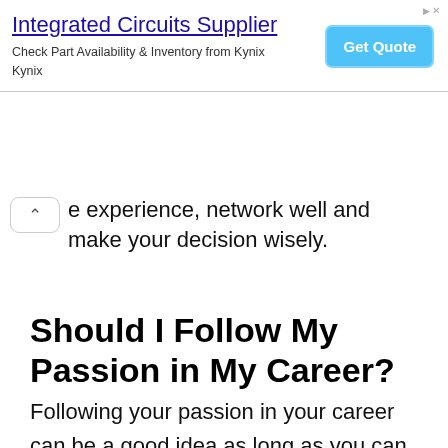[Figure (screenshot): Advertisement banner for 'Integrated Circuits Supplier' from Kynix with a 'Get Quote' button]
experience, network well and make your decision wisely.
Should I Follow My Passion in My Career?
Following your passion in your career can be a good idea as long as you can ensure that it will be fulfilling and rewarding enough for you. It might not always be possible to carry this out, in which case it can be better for you to opt for